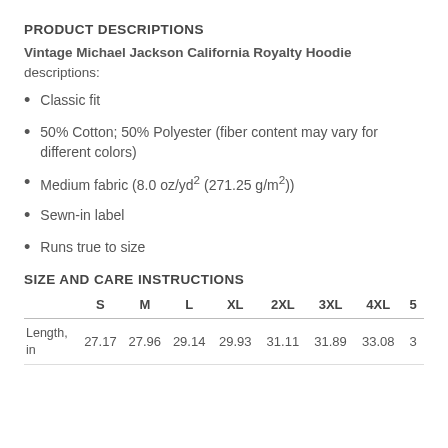PRODUCT DESCRIPTIONS
Vintage Michael Jackson California Royalty Hoodie descriptions:
Classic fit
50% Cotton; 50% Polyester (fiber content may vary for different colors)
Medium fabric (8.0 oz/yd² (271.25 g/m²))
Sewn-in label
Runs true to size
SIZE AND CARE INSTRUCTIONS
|  | S | M | L | XL | 2XL | 3XL | 4XL | 5 |
| --- | --- | --- | --- | --- | --- | --- | --- | --- |
| Length, in | 27.17 | 27.96 | 29.14 | 29.93 | 31.11 | 31.89 | 33.08 | 3 |